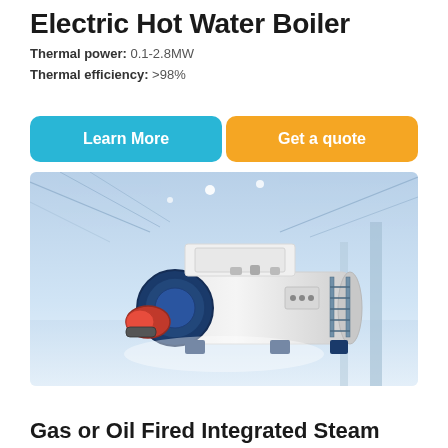Electric Hot Water Boiler
Thermal power: 0.1-2.8MW
Thermal efficiency: >98%
[Figure (other): Two buttons side by side: 'Learn More' (cyan/teal background) on the left and 'Get a quote' (orange background) on the right]
[Figure (photo): Industrial hot water boiler unit in white and dark blue/navy, with a red burner attachment on the front left, placed in a large industrial warehouse with blue-tinted lighting and steel roof trusses]
Gas or Oil Fired Integrated Steam